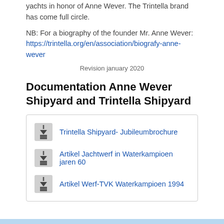yachts in honor of Anne Wever. The Trintella brand has come full circle.
NB: For a biography of the founder Mr. Anne Wever:
https://trintella.org/en/association/biografy-anne-wever
Revision january 2020
Documentation Anne Wever Shipyard and Trintella Shipyard
Trintella Shipyard- Jubileumbrochure
Artikel Jachtwerf in Waterkampioen jaren 60
Artikel Werf-TVK Waterkampioen 1994